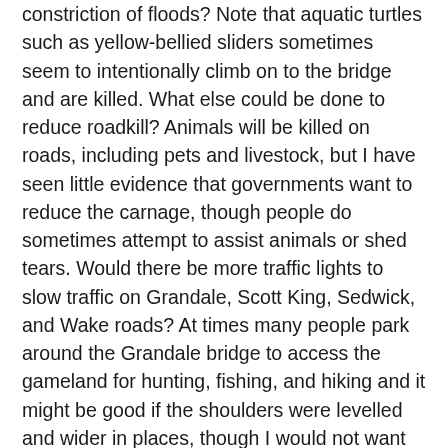constriction of floods? Note that aquatic turtles such as yellow-bellied sliders sometimes seem to intentionally climb on to the bridge and are killed. What else could be done to reduce roadkill? Animals will be killed on roads, including pets and livestock, but I have seen little evidence that governments want to reduce the carnage, though people do sometimes attempt to assist animals or shed tears. Would there be more traffic lights to slow traffic on Grandale, Scott King, Sedwick, and Wake roads? At times many people park around the Grandale bridge to access the gameland for hunting, fishing, and hiking and it might be good if the shoulders were levelled and wider in places, though I would not want to see many trees cut. It was difficult to get the DOT to pick up wooden shipping pallets dumped just off the road next to the bridge, even though their mowing equipment was obviously running into them. Wooden pallets are a vector for non-native forest pests and diseases such as emerald ash borers, already killing trees in Durham and Chapel Hill, and redbay ambrosia beetles, which haven't reached this far inland yet, but have sassafras as